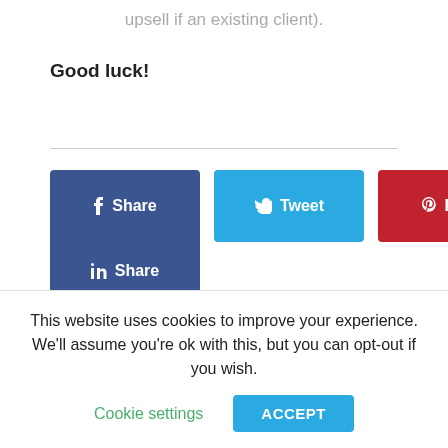upsell if an existing client).
Good luck!
[Figure (other): Social share buttons: Facebook Share, Twitter Tweet, Pinterest Pin it, LinkedIn Share]
1 COMMENT
This website uses cookies to improve your experience. We'll assume you're ok with this, but you can opt-out if you wish.
Cookie settings  ACCEPT